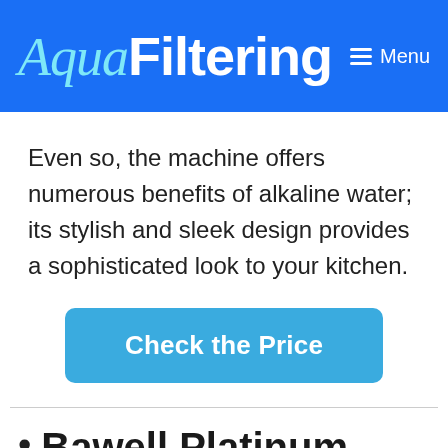AquaFiltering  Menu
Even so, the machine offers numerous benefits of alkaline water; its stylish and sleek design provides a sophisticated look to your kitchen.
[Figure (other): Blue button labeled 'Check the Price']
Bawell Platinum Alkaline Water Ionizer Machine